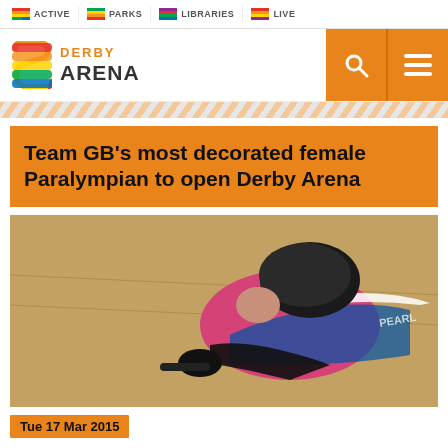ACTIVE | PARKS | LIBRARIES | LIVE
[Figure (logo): Derby Arena logo with colourful S emblem, DERBY ARENA text, and gold navigation buttons with search and menu icons]
Team GB’s most decorated female Paralympian to open Derby Arena
[Figure (photo): Close-up photo of a female Paralympic cyclist in a pink and blue jersey and black helmet, leaning forward on a track bicycle]
Tue 17 Mar 2015
Dame Sarah Storey, Great Britain’s most decorated Paralympian will officially open the